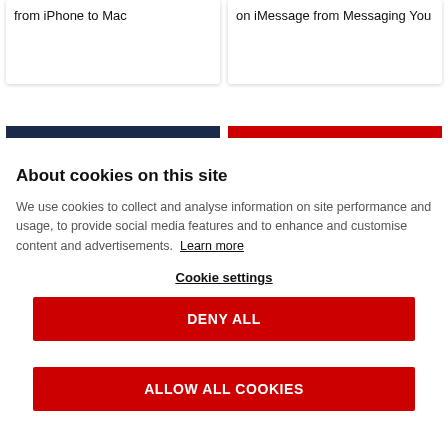from iPhone to Mac
on iMessage from Messaging You
About cookies on this site
We use cookies to collect and analyse information on site performance and usage, to provide social media features and to enhance and customise content and advertisements. Learn more
Cookie settings
DENY ALL
ALLOW ALL COOKIES